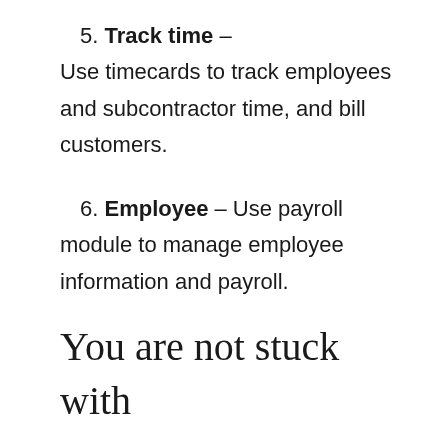5. Track time – Use timecards to track employees and subcontractor time, and bill customers.
6. Employee – Use payroll module to manage employee information and payroll.
You are not stuck with